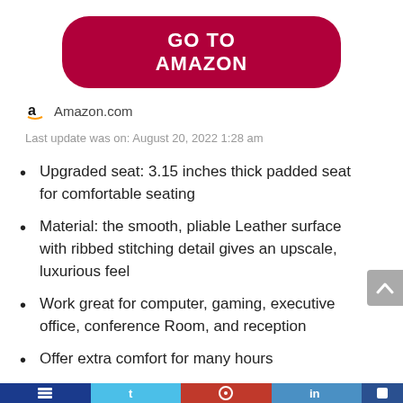[Figure (other): Red rounded rectangle button with white bold text reading GO TO AMAZON]
Amazon.com
Last update was on: August 20, 2022 1:28 am
Upgraded seat: 3.15 inches thick padded seat for comfortable seating
Material: the smooth, pliable Leather surface with ribbed stitching detail gives an upscale, luxurious feel
Work great for computer, gaming, executive office, conference Room, and reception
Offer extra comfort for many hours